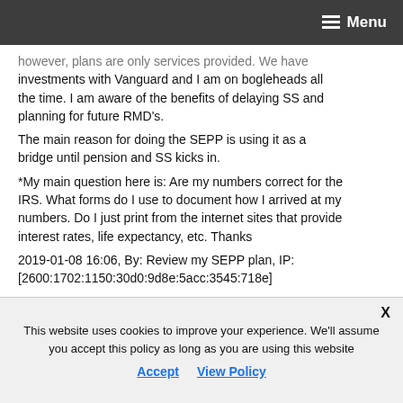Menu
however, plans are only services provided. We have investments with Vanguard and I am on bogleheads all the time. I am aware of the benefits of delaying SS and planning for future RMD's.
The main reason for doing the SEPP is using it as a bridge until pension and SS kicks in.
*My main question here is: Are my numbers correct for the IRS. What forms do I use to document how I arrived at my numbers. Do I just print from the internet sites that provide interest rates, life expectancy, etc. Thanks
2019-01-08 16:06, By: Review my SEPP plan, IP: [2600:1702:1150:30d0:9d8e:5acc:3545:718e]
L4: Review my SEPP plan
This website uses cookies to improve your experience. We'll assume you accept this policy as long as you are using this website
Accept   View Policy